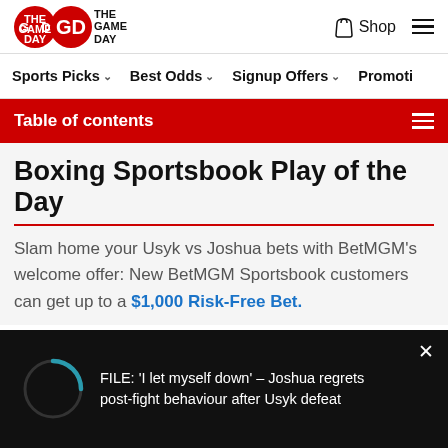THE GAME DAY — Shop — Menu
Sports Picks  Best Odds  Signup Offers  Promotions
Table of contents
Boxing Sportsbook Play of the Day
Slam home your Usyk vs Joshua bets with BetMGM's welcome offer: New BetMGM Sportsbook customers can get up to a $1,000 Risk-Free Bet.
[Figure (other): Loading spinner overlay with text: FILE: 'I let myself down' – Joshua regrets post-fight behaviour after Usyk defeat. Close button (×) at top right.]